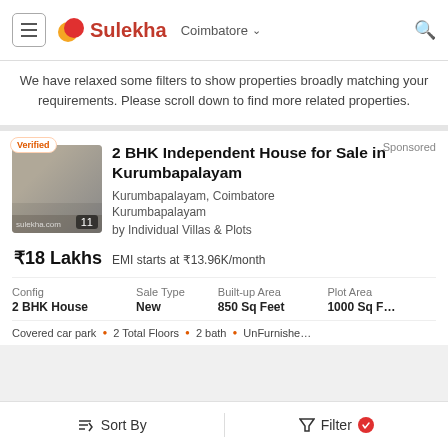Sulekha  Coimbatore
We have relaxed some filters to show properties broadly matching your requirements. Please scroll down to find more related properties.
Sponsored
2 BHK Independent House for Sale in Kurumbapalayam
Kurumbapalayam, Coimbatore
Kurumbapalayam
by Individual Villas & Plots
₹18 Lakhs  EMI starts at ₹13.96K/month
| Config | Sale Type | Built-up Area | Plot Area |
| --- | --- | --- | --- |
| 2 BHK House | New | 850 Sq Feet | 1000 Sq Feet |
Covered car park • 2 Total Floors • 2 bath • UnFurnished
Sort By   Filter